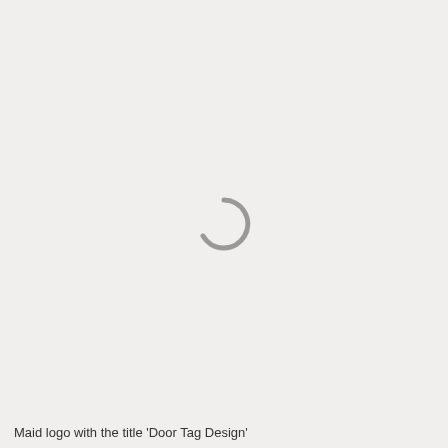[Figure (other): Loading spinner: a grey partial circle arc indicating a loading/busy state, centered on the page]
Maid logo with the title 'Door Tag Design'